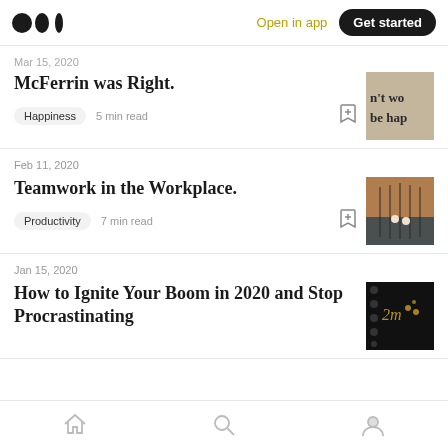Medium logo | Open in app | Get started
Mar 15, 2020
McFerrin was Right.
Happiness   5 min read
Feb 11, 2020
Teamwork in the Workplace.
Productivity   7 min read
Jan 15, 2020
How to Ignite Your Boom in 2020 and Stop Procrastinating
Home  Search  Profile